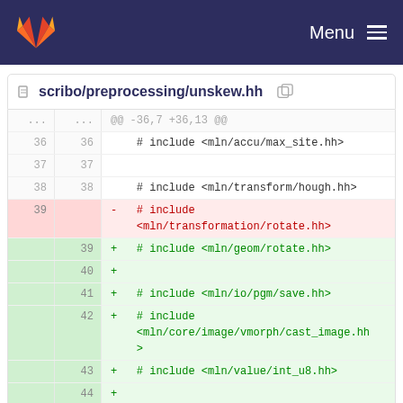Menu
scribo/preprocessing/unskew.hh
| old | new | code |
| --- | --- | --- |
| ... | ... | @@ -36,7 +36,13 @@ |
| 36 | 36 | # include <mln/accu/max_site.hh> |
| 37 | 37 |  |
| 38 | 38 | # include <mln/transform/hough.hh> |
| 39 |  | - # include <mln/transformation/rotate.hh> |
|  | 39 | + # include <mln/geom/rotate.hh> |
|  | 40 | + |
|  | 41 | + # include <mln/io/pgm/save.hh> |
|  | 42 | + # include <mln/core/image/vmorph/cast_image.hh> |
|  | 43 | + # include <mln/value/int_u8.hh> |
|  | 44 | + |
|  | 45 | + # include <mln/util/couple.hh> |
| 40 | 46 |  |
| 41 | 47 | namespace scribo |